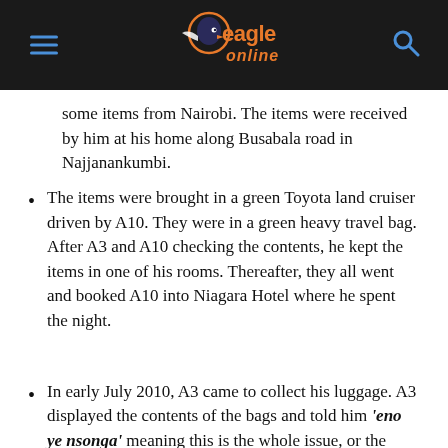Eagle Online
some items from Nairobi. The items were received by him at his home along Busabala road in Najjanankumbi.
The items were brought in a green Toyota land cruiser driven by A10. They were in a green heavy travel bag. After A3 and A10 checking the contents, he kept the items in one of his rooms. Thereafter, they all went and booked A10 into Niagara Hotel where he spent the night.
In early July 2010, A3 came to collect his luggage. A3 displayed the contents of the bags and told him 'eno ye nsonga' meaning this is the whole issue, or the crux of the matter.